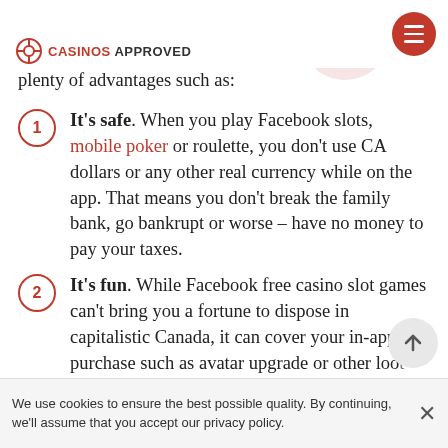CASINOS APPROVED
probably want to know the reasons to do this. There are plenty of advantages such as:
1. It’s safe. When you play Facebook slots, mobile poker or roulette, you don’t use CA dollars or any other real currency while on the app. That means you don’t break the family bank, go bankrupt or worse – have no money to pay your taxes.
2. It’s fun. While Facebook free casino slot games can’t bring you a fortune to dispose in capitalistic Canada, it can cover your in-app purchase such as avatar upgrade or other loot box features.
We use cookies to ensure the best possible quality. By continuing, we’ll assume that you accept our privacy policy.